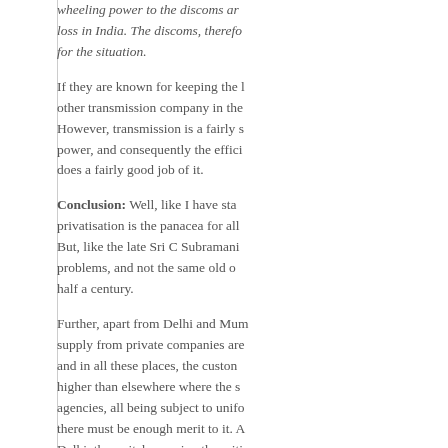wheeling power to the discoms and the loss in India. The discoms, therefore, for the situation.
If they are known for keeping the losses lower than other transmission company in the However, transmission is a fairly stable power, and consequently the efficiency does a fairly good job of it.
Conclusion: Well, like I have stated, privatisation is the panacea for all But, like the late Sri C Subramania problems, and not the same old ones half a century.
Further, apart from Delhi and Mumbai, supply from private companies are and in all these places, the customers higher than elsewhere where the supply agencies, all being subject to uniform there must be enough merit to it. After Delhi, the switch-over in other cities
Muralidhar Rao